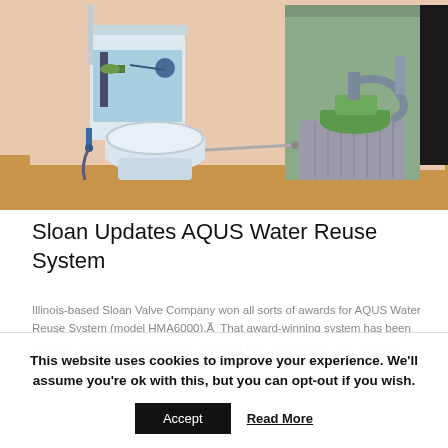[Figure (illustration): Illustration of the Sloan AQUS Water Reuse System showing a toilet with water tank system on the left and a gray under-sink filtration/pump unit with green components on the right, set in a bathroom interior with salmon-colored walls and wood floor.]
Sloan Updates AQUS Water Reuse System
Illinois-based Sloan Valve Company won all sorts of awards for AQUS Water Reuse System (model HMA6000). That award-winning system has been updated, and the new HMA7000 model is now available. The upgraded small-scale water reuse system has a redesigned look...
This website uses cookies to improve your experience. We'll assume you're ok with this, but you can opt-out if you wish.